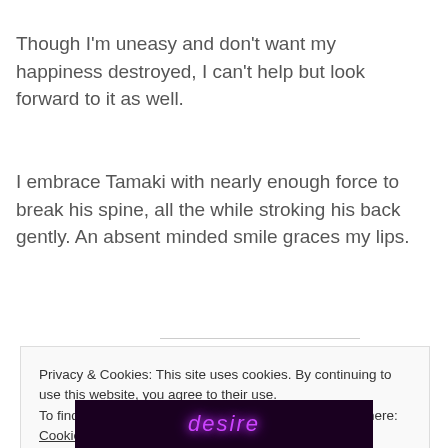Though I'm uneasy and don't want my happiness destroyed, I can't help but look forward to it as well.
I embrace Tamaki with nearly enough force to break his spine, all the while stroking his back gently. An absent minded smile graces my lips.
Privacy & Cookies: This site uses cookies. By continuing to use this website, you agree to their use.
To find out more, including how to control cookies, see here: Cookie Policy
Close and accept